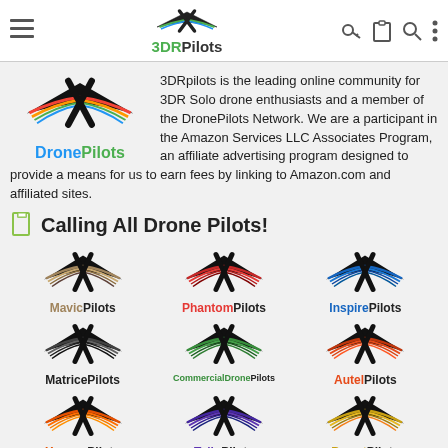3DRPilots — navigation bar
[Figure (logo): 3DRPilots DronePilots logo with winged X emblem and text]
3DRpilots is the leading online community for 3DR Solo drone enthusiasts and a member of the DronePilots Network. We are a participant in the Amazon Services LLC Associates Program, an affiliate advertising program designed to provide a means for us to earn fees by linking to Amazon.com and affiliated sites.
Calling All Drone Pilots!
[Figure (logo): MavicPilots logo — winged X emblem in gold/bronze tones, label 'MavicPilots']
[Figure (logo): PhantomPilots logo — winged X emblem in red tones, label 'PhantomPilots']
[Figure (logo): InspirePilots logo — winged X emblem in blue tones, label 'InspirePilots']
[Figure (logo): MatricePilots logo — winged X emblem in dark tones, label 'MatricePilots']
[Figure (logo): CommercialDronePilots logo — winged X emblem in green tones, label 'CommercialDronePilots']
[Figure (logo): AutelPilots logo — winged X emblem in red/orange tones, label 'AutelPilots']
[Figure (logo): YuneecPilots logo — winged X emblem in orange tones, label 'YuneecPilots']
[Figure (logo): TelloPilots logo — winged X emblem in blue/purple tones, label 'TelloPilots']
[Figure (logo): ParrotPilots logo — winged X emblem in orange/brown tones, label 'ParrotPilots']